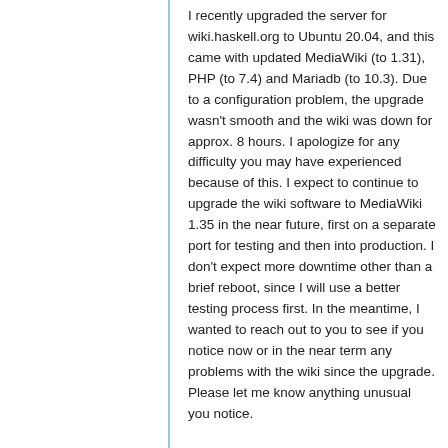I recently upgraded the server for wiki.haskell.org to Ubuntu 20.04, and this came with updated MediaWiki (to 1.31), PHP (to 7.4) and Mariadb (to 10.3). Due to a configuration problem, the upgrade wasn't smooth and the wiki was down for approx. 8 hours. I apologize for any difficulty you may have experienced because of this. I expect to continue to upgrade the wiki software to MediaWiki 1.35 in the near future, first on a separate port for testing and then into production. I don't expect more downtime other than a brief reboot, since I will use a better testing process first. In the meantime, I wanted to reach out to you to see if you notice now or in the near term any problems with the wiki since the upgrade. Please let me know anything unusual you notice.